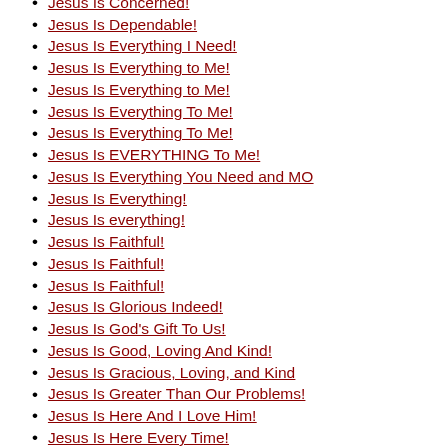Jesus Is Concerned!
Jesus Is Dependable!
Jesus Is Everything I Need!
Jesus Is Everything to Me!
Jesus Is Everything to Me!
Jesus Is Everything To Me!
Jesus Is Everything To Me!
Jesus Is EVERYTHING To Me!
Jesus Is Everything You Need and MO
Jesus Is Everything!
Jesus Is everything!
Jesus Is Faithful!
Jesus Is Faithful!
Jesus Is Faithful!
Jesus Is Glorious Indeed!
Jesus Is God's Gift To Us!
Jesus Is Good, Loving And Kind!
Jesus Is Gracious, Loving, and Kind
Jesus Is Greater Than Our Problems!
Jesus Is Here And I Love Him!
Jesus Is Here Every Time!
Jesus Is Here For Me!
Jesus Is Here For You Today!
Jesus Is Here for You!!!
Jesus Is Here Now!
Jesus Is Here Right Now!
Jesus Is Here to Help Us!
Jesus Is Here to Help Us!
Jesus Is Here To Help You!
Jesus Is Here To Listen!
Jesus Is Here!